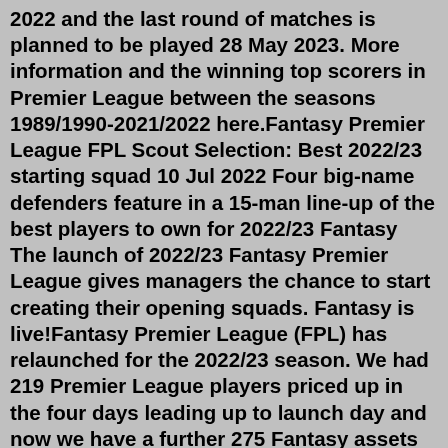2022 and the last round of matches is planned to be played 28 May 2023. More information and the winning top scorers in Premier League between the seasons 1989/1990-2021/2022 here.Fantasy Premier League FPL Scout Selection: Best 2022/23 starting squad 10 Jul 2022 Four big-name defenders feature in a 15-man line-up of the best players to own for 2022/23 Fantasy The launch of 2022/23 Fantasy Premier League gives managers the chance to start creating their opening squads. Fantasy is live!Fantasy Premier League (FPL) has relaunched for the 2022/23 season. We had 219 Premier League players priced up in the four days leading up to launch day and now we have a further 275 Fantasy assets to sift through. We already knew how much most of the big guns will cost in FPL next season but here we look at notable names such as Gabriel Jesus ...Jul 30, 2022 · It's time to rate all of the best expensive players for FPL 2022/23! In this video I will go through premium players worth £9.0m or more, and rank them in order of best to worst. Hopefully this discussion will help you decide